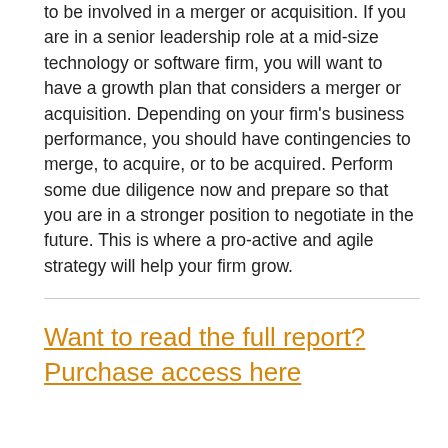to be involved in a merger or acquisition. If you are in a senior leadership role at a mid-size technology or software firm, you will want to have a growth plan that considers a merger or acquisition. Depending on your firm's business performance, you should have contingencies to merge, to acquire, or to be acquired. Perform some due diligence now and prepare so that you are in a stronger position to negotiate in the future. This is where a pro-active and agile strategy will help your firm grow.
Want to read the full report? Purchase access here